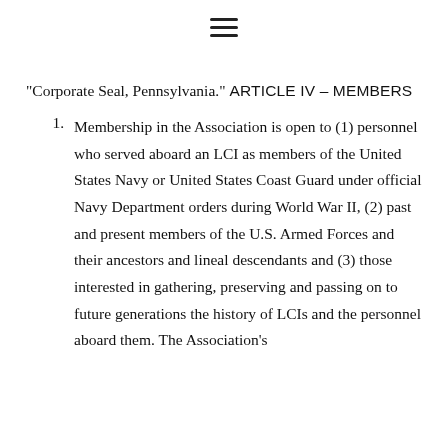“Corporate Seal, Pennsylvania.”
ARTICLE IV – MEMBERS
Membership in the Association is open to (1) personnel who served aboard an LCI as members of the United States Navy or United States Coast Guard under official Navy Department orders during World War II, (2) past and present members of the U.S. Armed Forces and their ancestors and lineal descendants and (3) those interested in gathering, preserving and passing on to future generations the history of LCIs and the personnel aboard them. The Association’s